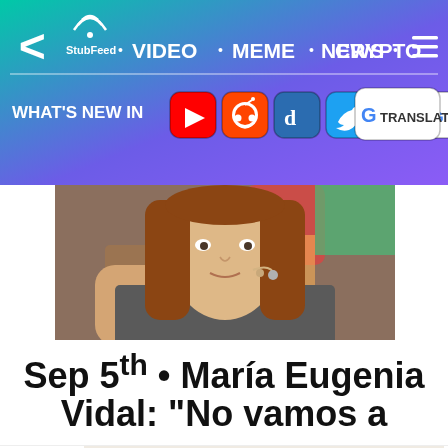[Figure (screenshot): StubFeed website navigation bar with gradient background (teal to purple). Contains back arrow, StubFeed logo with wifi icon, navigation links (VIDEO, MEME, NEWS, CRYPTO), hamburger menu, and a second row showing WHAT'S NEW IN with social media icons for YouTube, Reddit, Digg, Twitter, Search, and Google Translate.]
[Figure (photo): Photo of María Eugenia Vidal, a woman with long brown hair wearing a beige microphone headset, speaking on what appears to be a TV set.]
Sep 5th • María Eugenia Vidal: "No vamos a
[Figure (screenshot): Partial screenshot of a Guardian article featuring a food photo with green salad leaves, chickpeas, and a glass of beer on a pink background. The Guardian 'G' logo is visible on the left.]